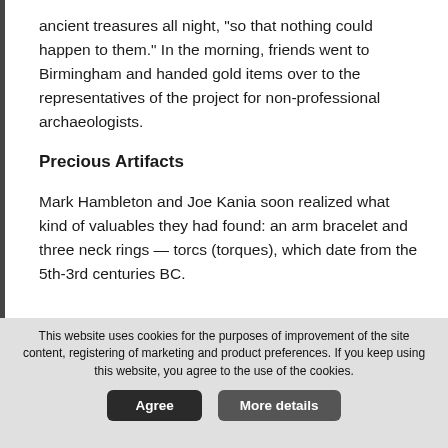ancient treasures all night, "so that nothing could happen to them." In the morning, friends went to Birmingham and handed gold items over to the representatives of the project for non-professional archaeologists.
Precious Artifacts
Mark Hambleton and Joe Kania soon realized what kind of valuables they had found: an arm bracelet and three neck rings — torcs (torques), which date from the 5th-3rd centuries BC.
This website uses cookies for the purposes of improvement of the site content, registering of marketing and product preferences. If you keep using this website, you agree to the use of the cookies.